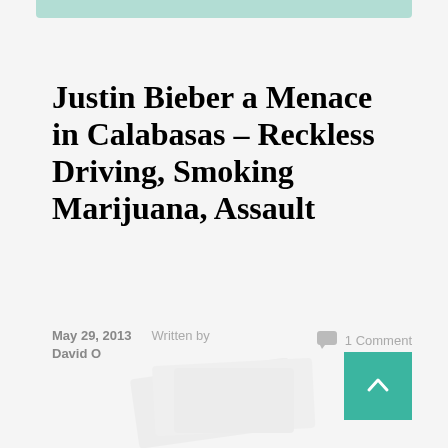Justin Bieber a Menace in Calabasas – Reckless Driving, Smoking Marijuana, Assault
May 29, 2013    Written by David O    1 Comment